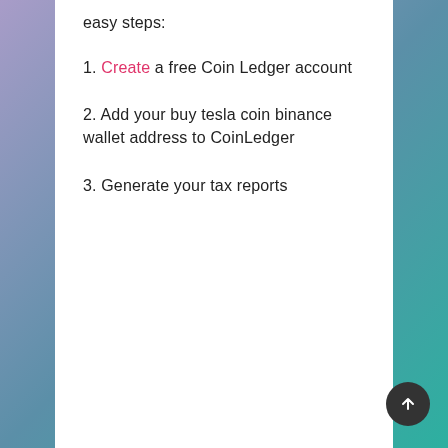easy steps:
1. Create a free Coin Ledger account
2. Add your buy tesla coin binance wallet address to CoinLedger
3. Generate your tax reports